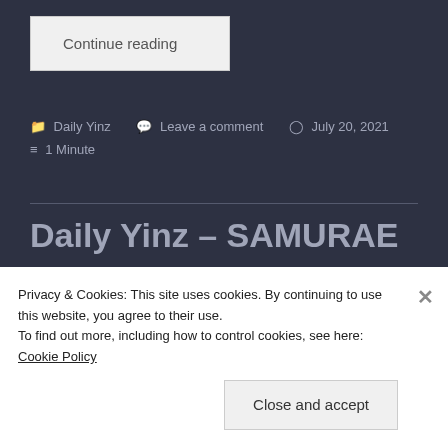Continue reading
📁 Daily Yinz   💬 Leave a comment   🕐 July 20, 2021   ≡ 1 Minute
Daily Yinz – SAMURAE – Tree Talk
Privacy & Cookies: This site uses cookies. By continuing to use this website, you agree to their use.
To find out more, including how to control cookies, see here: Cookie Policy
Close and accept